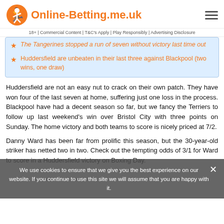Online-Betting.me.uk
18+ | Commercial Content | T&C's Apply | Play Responsibly | Advertising Disclosure
The Tangerines stopped a run of seven without victory last time out
Huddersfield are unbeaten in their last three against Blackpool (two wins, one draw)
Huddersfield are not an easy nut to crack on their own patch. They have won four of the last seven at home, suffering just one loss in the process. Blackpool have had a decent season so far, but we fancy the Terriers to follow up last weekend's win over Bristol City with three points on Sunday. The home victory and both teams to score is nicely priced at 7/2.
Danny Ward has been far from prolific this season, but the 30-year-old striker has netted two in two. Check out the tempting odds of 3/1 for Ward to score in a Huddersfield victory on Boxing Day.
We use cookies to ensure that we give you the best experience on our website. If you continue to use this site we will assume that you are happy with it.